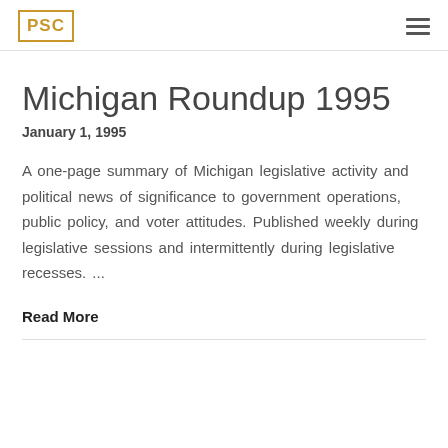PSC
Michigan Roundup 1995
January 1, 1995
A one-page summary of Michigan legislative activity and political news of significance to government operations, public policy, and voter attitudes. Published weekly during legislative sessions and intermittently during legislative recesses. ...
Read More